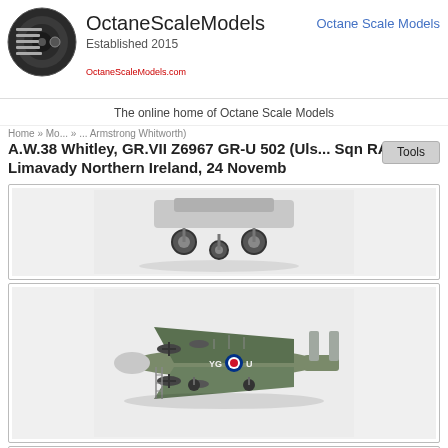[Figure (logo): OctaneScaleModels logo: circular dark logo with horizontal lines on left, brand name 'OctaneScaleModels', 'Established 2015', and OctaneScaleModels.com URL text. Navigation link 'Octane Scale Models' in blue on right.]
The online home of Octane Scale Models
Home » Mo... » ... Armstrong Whitworth) A.W.38 Whitley, GR.VII Z6967 GR-U 502 (Ulster) Sqn RAF, RAF Limavady Northern Ireland, 24 Novemb...
[Figure (photo): Close-up photo of scale model aircraft showing the underside and landing gear from front angle, on white background.]
[Figure (photo): Full side-view photo of Armstrong Whitworth Whitley scale model aircraft marked YG-U with RAF roundel, green/grey camouflage, on white background.]
[Figure (photo): Partial photo of another scale model aircraft, partially visible at bottom of page.]